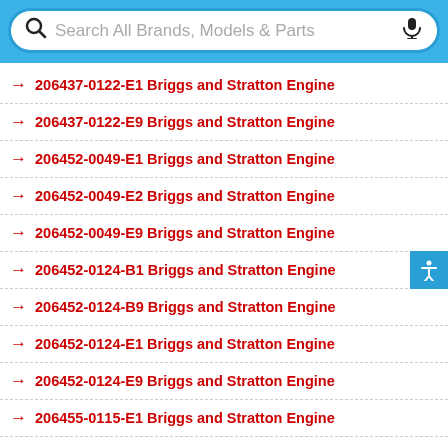[Figure (screenshot): Search bar with search icon, placeholder text 'Search All Brands, Models & Parts', and microphone icon, styled with blue rounded border on blue background]
206437-0122-E1 Briggs and Stratton Engine
206437-0122-E9 Briggs and Stratton Engine
206452-0049-E1 Briggs and Stratton Engine
206452-0049-E2 Briggs and Stratton Engine
206452-0049-E9 Briggs and Stratton Engine
206452-0124-B1 Briggs and Stratton Engine
206452-0124-B9 Briggs and Stratton Engine
206452-0124-E1 Briggs and Stratton Engine
206452-0124-E9 Briggs and Stratton Engine
206455-0115-E1 Briggs and Stratton Engine
206455-0115-E9 Briggs and Stratton Engine
206457-0117-E1 Briggs and Stratton Engine